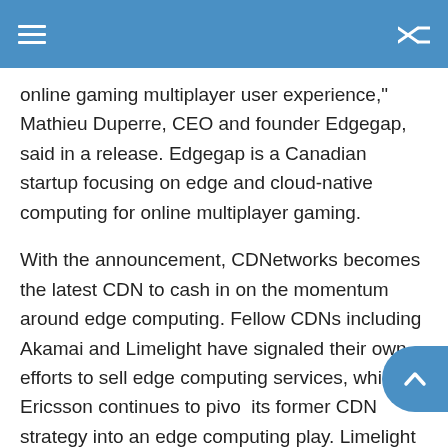online gaming multiplayer user experience," Mathieu Duperre, CEO and founder Edgegap, said in a release. Edgegap is a Canadian startup focusing on edge and cloud-native computing for online multiplayer gaming.
With the announcement, CDNetworks becomes the latest CDN to cash in on the momentum around edge computing. Fellow CDNs including Akamai and Limelight have signaled their own efforts to sell edge computing services, while Ericsson continues to pivot its former CDN strategy into an edge computing play. Limelight even boasts of a partnership with an online gaming startup called Network Next, just as CDNetworks is doing with Edgegap.